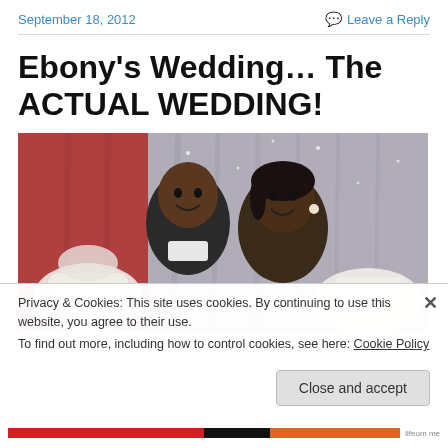September 18, 2012
Leave a Reply
Ebony's Wedding… The ACTUAL WEDDING!
[Figure (photo): A smiling couple (man and woman) posing together in front of a decorative curtain backdrop with ornate white chairs visible behind them at a wedding reception.]
Privacy & Cookies: This site uses cookies. By continuing to use this website, you agree to their use.
To find out more, including how to control cookies, see here: Cookie Policy
Close and accept